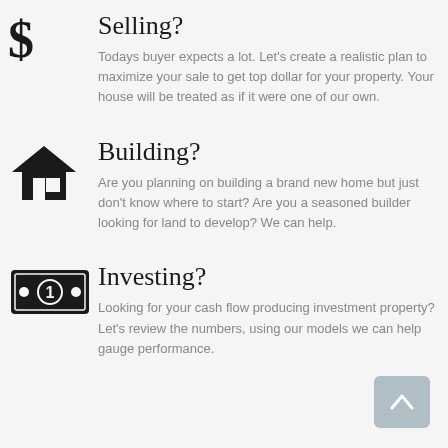Selling?
Todays buyer expects a lot. Let's create a realistic plan to maximize your sale to get top dollar for your property. Your house will be treated as if it were one of our own.
Building?
Are you planning on building a brand new home but just don't know where to start? Are you a seasoned builder looking for land to develop? We can help.
Investing?
Looking for your cash flow producing investment property? Let's review the numbers, using our models we can help gauge performance.